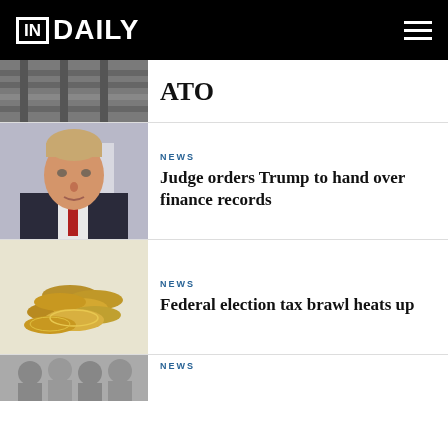IN DAILY
[Figure (photo): Partial view of a building exterior — top of a news article cut off at top of page]
ATO
[Figure (photo): Photo of Donald Trump in suit and tie]
NEWS
Judge orders Trump to hand over finance records
[Figure (photo): Photo of Australian gold coins on white background]
NEWS
Federal election tax brawl heats up
[Figure (photo): Partial photo of a group of people — bottom article cut off]
NEWS